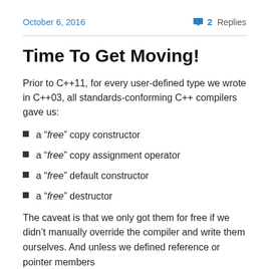October 6, 2016   2 Replies
Time To Get Moving!
Prior to C++11, for every user-defined type we wrote in C++03, all standards-conforming C++ compilers gave us:
a “free” copy constructor
a “free” copy assignment operator
a “free” default constructor
a “free” destructor
The caveat is that we only got them for free if we didn’t manually override the compiler and write them ourselves. And unless we defined reference or pointer members